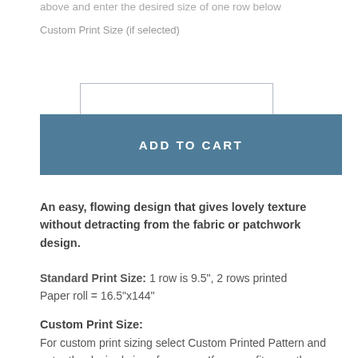above and enter the desired size of one row below
Custom Print Size (if selected)
ADD TO CART
An easy, flowing design that gives lovely texture without detracting from the fabric or patchwork design.
Standard Print Size: 1 row is 9.5", 2 rows printed
Paper roll = 16.5"x144"
Custom Print Size:
For custom print sizing select Custom Printed Pattern and enter the desired size of one row. If we can fit more than one row of your requested size we will